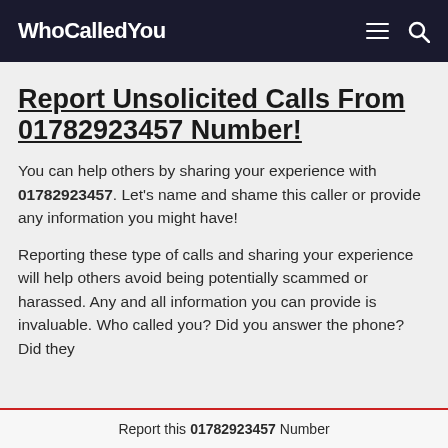WhoCalledYou
Report Unsolicited Calls From 01782923457 Number!
You can help others by sharing your experience with 01782923457. Let's name and shame this caller or provide any information you might have!
Reporting these type of calls and sharing your experience will help others avoid being potentially scammed or harassed. Any and all information you can provide is invaluable. Who called you? Did you answer the phone? Did they
Report this 01782923457 Number